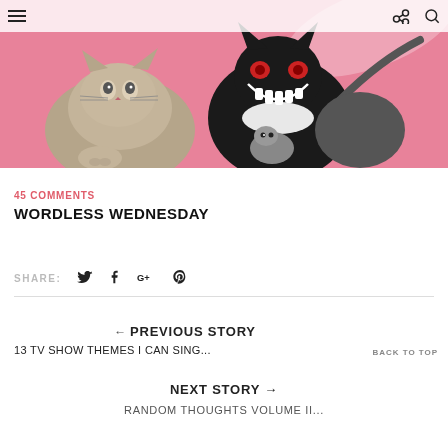☰  share  search
[Figure (illustration): Pink background illustration with a realistic fluffy cat on the left and a cartoon black cat character with a wide grinning face and a small grey mouse/creature in the center-right.]
45 COMMENTS
WORDLESS WEDNESDAY
SHARE: [twitter] [facebook] [google+] [pinterest]
← PREVIOUS STORY
13 TV SHOW THEMES I CAN SING...
BACK TO TOP
NEXT STORY →
RANDOM THOUGHTS VOLUME II...